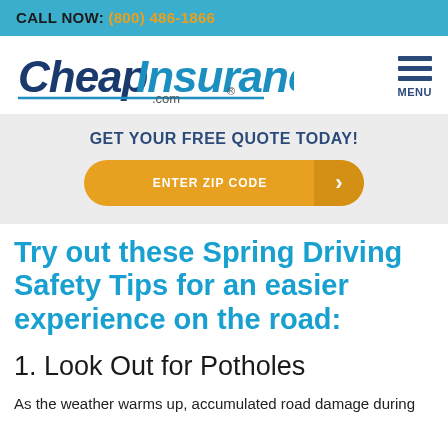CALL NOW: (800) 486-1866
[Figure (logo): CheapInsurance.com logo with italic styling]
GET YOUR FREE QUOTE TODAY!
ENTER ZIP CODE →
Try out these Spring Driving Safety Tips for an easier experience on the road:
1.  Look Out for Potholes
As the weather warms up, accumulated road damage during